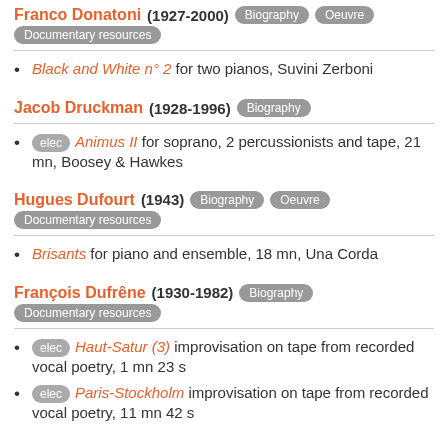Franco Donatoni (1927-2000) Biography Oeuvre Documentary resources
Black and White n° 2 for two pianos, Suvini Zerboni
Jacob Druckman (1928-1996) Biography
elec Animus II for soprano, 2 percussionists and tape, 21 mn, Boosey & Hawkes
Hugues Dufourt (1943) Biography Oeuvre Documentary resources
Brisants for piano and ensemble, 18 mn, Una Corda
François Dufrêne (1930-1982) Biography Documentary resources
elec Haut-Satur (3) improvisation on tape from recorded vocal poetry, 1 mn 23 s
elec Paris-Stockholm improvisation on tape from recorded vocal poetry, 11 mn 42 s